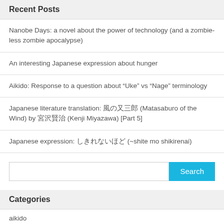Recent Posts
Nanobe Days: a novel about the power of technology (and a zombie-less zombie apocalypse)
An interesting Japanese expression about hunger
Aikido: Response to a question about “Uke” vs “Nage” terminology
Japanese literature translation: 風の又三郎 (Matasaburo of the Wind) by 宮沢賢治 (Kenji Miyazawa) [Part 5]
Japanese expression: しきれないほど (~shite mo shikirenai)
Categories
aikido
Aside